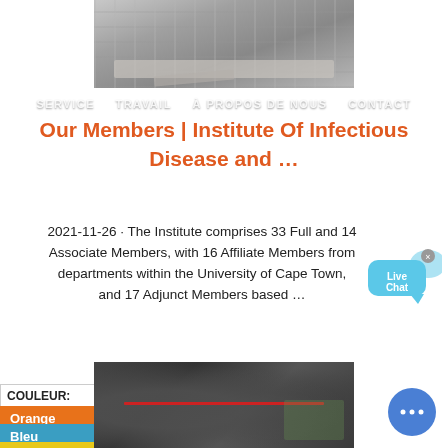[Figure (photo): Construction site photo at top of page showing rubble and building materials]
SERVICE   TRAVAIL   À PROPOS DE NOUS   CONTACT
Our Members | Institute Of Infectious Disease and …
2021-11-26 · The Institute comprises 33 Full and 14 Associate Members, with 16 Affiliate Members from departments within the University of Cape Town, and 17 Adjunct Members based …
[Figure (other): Live Chat widget bubble in light blue]
COULEUR:
Orange
Bleu
Jaune
[Figure (photo): Bottom construction or industrial machinery photo]
[Figure (other): Blue circular chat button with ellipsis dots]